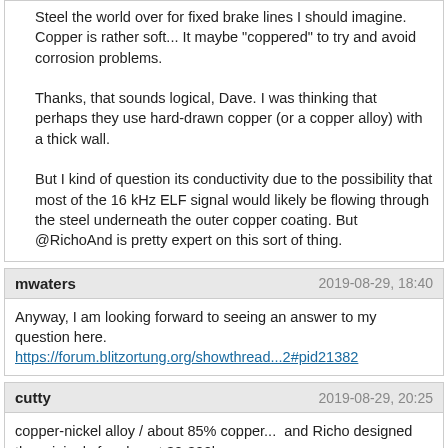Steel the world over for fixed brake lines I should imagine. Copper is rather soft... It maybe "coppered" to try and avoid corrosion problems.

Thanks, that sounds logical, Dave. I was thinking that perhaps they use hard-drawn copper (or a copper alloy) with a thick wall.

But I kind of question its conductivity due to the possibility that most of the 16 kHz ELF signal would likely be flowing through the steel underneath the outer copper coating. But @RichoAnd is pretty expert on this sort of thing.
mwaters — 2019-08-29, 18:40
Anyway, I am looking forward to seeing an answer to my question here.
https://forum.blitzortung.org/showthread...2#pid21382
cutty — 2019-08-29, 20:25
copper-nickel alloy / about 85% copper...  and Richo designed the originals for aboout 30-300km range
Benedict.Smith — 2019-09-02, 19:21
(2019-08-29, 20:25)cutty Wrote: [ -> ]copper-nickel alloy / about 85% copper...  and Richo designed the originals for aboout 30-300km range